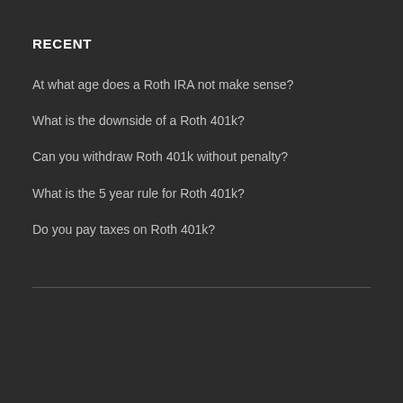RECENT
At what age does a Roth IRA not make sense?
What is the downside of a Roth 401k?
Can you withdraw Roth 401k without penalty?
What is the 5 year rule for Roth 401k?
Do you pay taxes on Roth 401k?